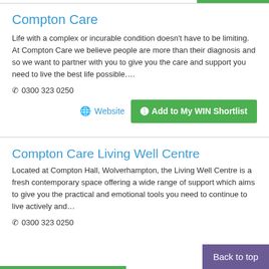Compton Care
Life with a complex or incurable condition doesn't have to be limiting. At Compton Care we believe people are more than their diagnosis and so we want to partner with you to give you the care and support you need to live the best life possible….
0300 323 0250
Website | Add to My WIN Shortlist
Compton Care Living Well Centre
Located at Compton Hall, Wolverhampton, the Living Well Centre is a fresh contemporary space offering a wide range of support which aims to give you the practical and emotional tools you need to continue to live actively and…
0300 323 0250
Back to top